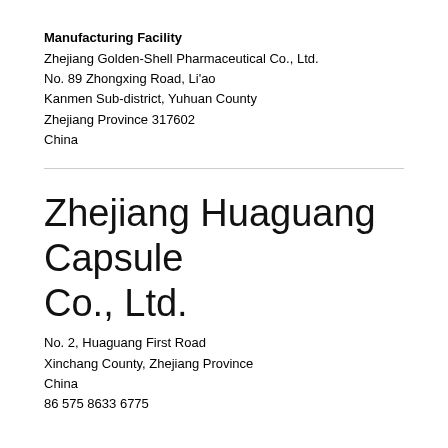Manufacturing Facility
Zhejiang Golden-Shell Pharmaceutical Co., Ltd.
No. 89 Zhongxing Road, Li'ao
Kanmen Sub-district, Yuhuan County
Zhejiang Province 317602
China
Zhejiang Huaguang Capsule Co., Ltd.
No. 2, Huaguang First Road
Xinchang County, Zhejiang Province
China
86 575 8633 6775
Manufacturing Facility
Zhejiang Huaguang Capsule Co., Ltd.
No. 2, Huaguang First Road
Xinchang County, Zhejiang Province